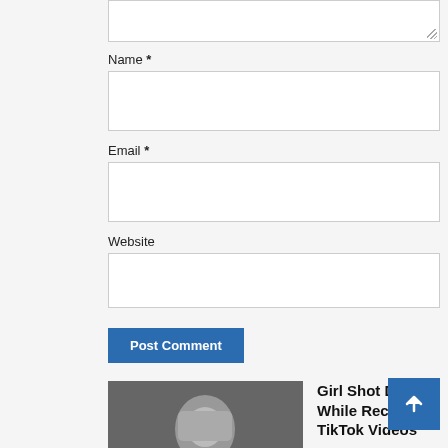Name *
Email *
Website
Post Comment
[Figure (screenshot): Social media share buttons: Facebook, Twitter, LinkedIn, Reddit]
[Figure (photo): Photo of a young girl in a car]
Girl Shot Dead While Recording TikTok Videos
September 2, 2022